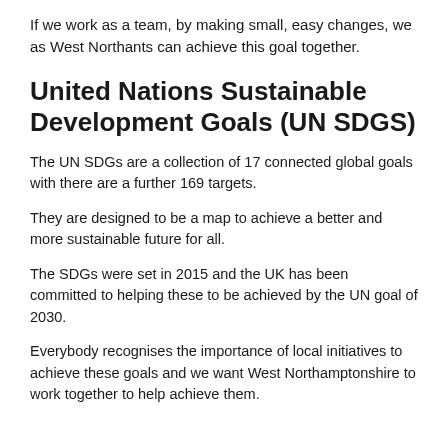If we work as a team, by making small, easy changes, we as West Northants can achieve this goal together.
United Nations Sustainable Development Goals (UN SDGS)
The UN SDGs are a collection of 17 connected global goals with there are a further 169 targets.
They are designed to be a map to achieve a better and more sustainable future for all.
The SDGs were set in 2015 and the UK has been committed to helping these to be achieved by the UN goal of 2030.
Everybody recognises the importance of local initiatives to achieve these goals and we want West Northamptonshire to work together to help achieve them.